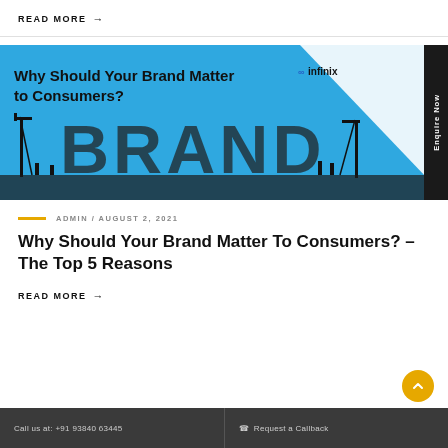READ MORE →
[Figure (illustration): Banner image with blue and white diagonal background showing the word BRAND in large letters built like a construction site with cranes and workers silhouettes. Text reads 'Why Should Your Brand Matter to Consumers?' with the Pinfinix logo in the top right.]
ADMIN / AUGUST 2, 2021
Why Should Your Brand Matter To Consumers? – The Top 5 Reasons
READ MORE →
Call us at: +91 93840 63445    ☎ Request a Callback